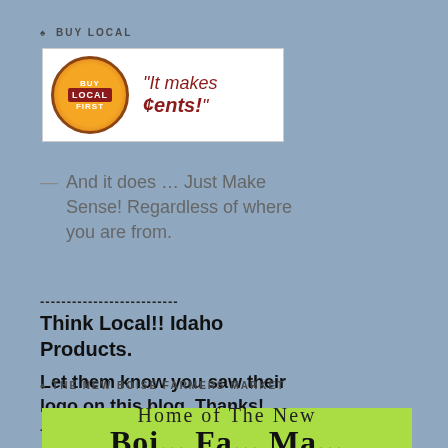♠ BUY LOCAL
[Figure (logo): Buy Local First logo with tagline 'It makes ¢ents!']
— And it does … Just Make Sense! Regardless of where you are from.
------------------------
Think Local!! Idaho Products.

Let them know you saw their logo on this blog. Thanks!
------------------------
♠ THE NEW BOISE FARMERS MARKET
[Figure (logo): Home of The New Boise Farmers Market banner on green background]